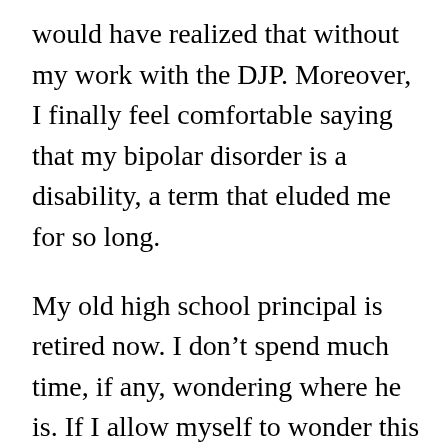would have realized that without my work with the DJP. Moreover, I finally feel comfortable saying that my bipolar disorder is a disability, a term that eluded me for so long.

My old high school principal is retired now. I don't spend much time, if any, wondering where he is. If I allow myself to wonder this one moment, I hope that he's grown as I have and understands that disabilities are not always surface level. I hope that he and so many others who share his thoughts have learned that psychosocial disabilities are debilitating, discouraging, and so difficult, that they…